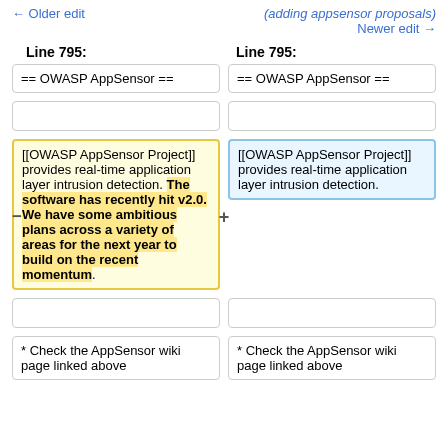← Older edit
(adding appsensor proposals)
Newer edit →
Line 795:
Line 795:
== OWASP AppSensor ==
== OWASP AppSensor ==
[[OWASP AppSensor Project]] provides real-time application layer intrusion detection. The software has recently hit v2.0. We have some ambitious plans across a variety of areas for the next year to build on the recent momentum.
[[OWASP AppSensor Project]] provides real-time application layer intrusion detection.
* Check the AppSensor wiki page linked above
* Check the AppSensor wiki page linked above